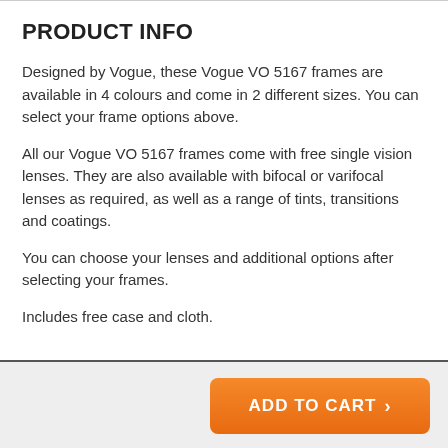PRODUCT INFO
Designed by Vogue, these Vogue VO 5167 frames are available in 4 colours and come in 2 different sizes. You can select your frame options above.
All our Vogue VO 5167 frames come with free single vision lenses. They are also available with bifocal or varifocal lenses as required, as well as a range of tints, transitions and coatings.
You can choose your lenses and additional options after selecting your frames.
Includes free case and cloth.
ADD TO CART >